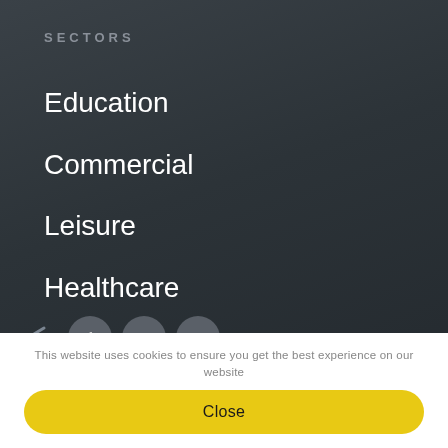SECTORS
Education
Commercial
Leisure
Healthcare
Public Sector
Residential
[Figure (other): Social media icons at the bottom of the navigation panel — an arrow icon and three circular icons]
This website uses cookies to ensure you get the best experience on our website
Close